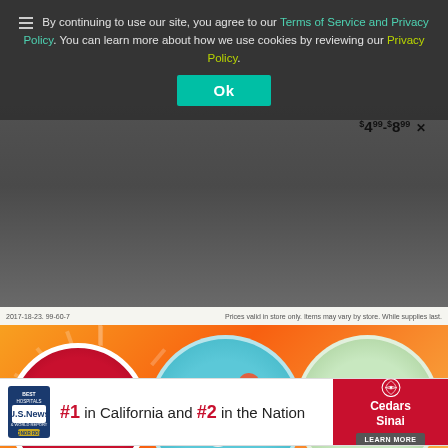By continuing to use our site, you agree to our Terms of Service and Privacy Policy. You can learn more about how we use cookies by reviewing our Privacy Policy.
[Figure (screenshot): Cookie consent overlay on a retail website. Contains text about Terms of Service and Privacy Policy with an Ok button. Below shows a Grocery Outlet Bargain Market banner with circular product images and a See More button. Below that is a Cedars-Sinai hospital advertisement showing #1 in California and #2 in the Nation.]
#1 in California and #2 in the Nation
Cedars Sinai — LEARN MORE